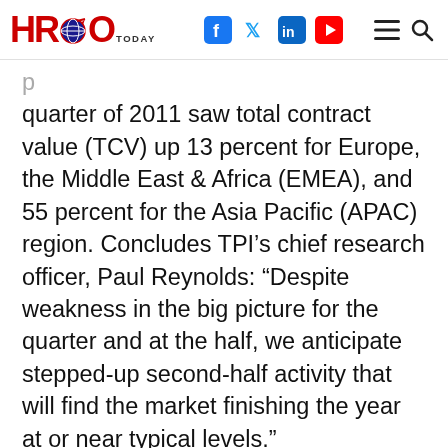HRO Today [logo] — with Facebook, Twitter, LinkedIn, YouTube social icons and hamburger menu and search
quarter of 2011 saw total contract value (TCV) up 13 percent for Europe, the Middle East & Africa (EMEA), and 55 percent for the Asia Pacific (APAC) region. Concludes TPI’s chief research officer, Paul Reynolds: “Despite weakness in the big picture for the quarter and at the half, we anticipate stepped-up second-half activity that will find the market finishing the year at or near typical levels.”